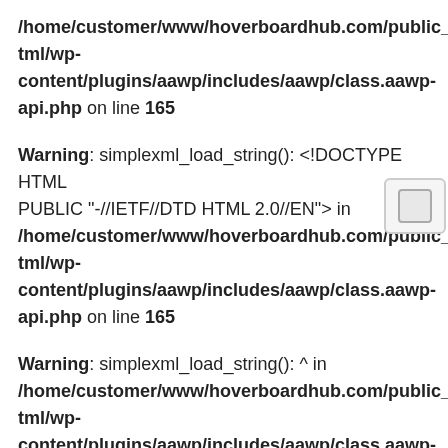/home/customer/www/hoverboardhub.com/public_html/wp-content/plugins/aawp/includes/aawp/class.aawp-api.php on line 165
Warning: simplexml_load_string(): <!DOCTYPE HTML PUBLIC "-//IETF//DTD HTML 2.0//EN"> in /home/customer/www/hoverboardhub.com/public_html/wp-content/plugins/aawp/includes/aawp/class.aawp-api.php on line 165
Warning: simplexml_load_string(): ^ in /home/customer/www/hoverboardhub.com/public_html/wp-content/plugins/aawp/includes/aawp/class.aawp-api.php